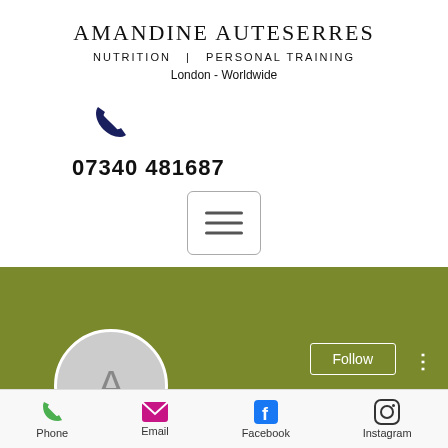AMANDINE AUTESERRES
NUTRITION  |  PERSONAL TRAINING
London - Worldwide
[Figure (other): Dark navy phone/call icon]
07340 481687
[Figure (other): Hamburger menu button with three horizontal lines inside a rounded rectangle border]
[Figure (other): Olive/khaki green banner with Follow button and avatar circle with letter A]
Anabolic steroids pharmaco...
[Figure (other): Bottom navigation bar with Phone (green), Email (pink), Facebook (blue), Instagram icons and labels]